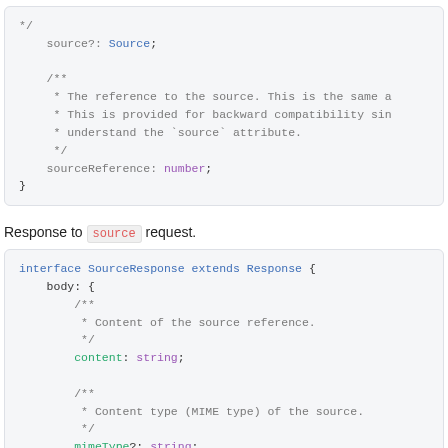Code block showing source?: Source; and sourceReference: number; with JSDoc comments
Response to source request.
Code block showing interface SourceResponse extends Response with body containing content: string and mimeType?: string fields with JSDoc comments